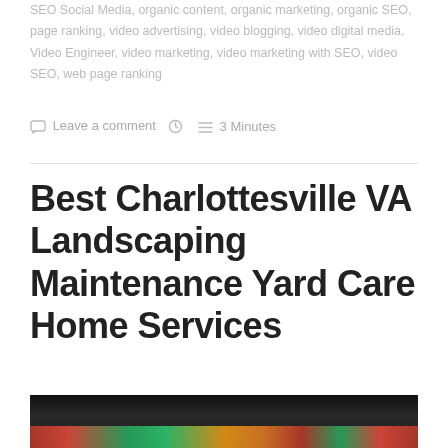SEO Social Media, organic content, organic marketing, organic SEO, page ranking, video advertising, video blogging, video digital media, Video Engineer, video marketing, video marketing with SEO, video SEO, web page ranking
Leave a comment  3 Minutes
Best Charlottesville VA Landscaping Maintenance Yard Care Home Services
[Figure (photo): Dark photograph showing colorful landscaping or garden imagery at the bottom of the page]